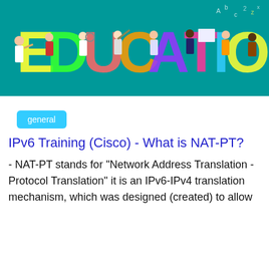[Figure (illustration): Colorful education-themed banner on teal background with large decorative letters spelling EDUCATION, surrounded by cartoon figures of students, teachers, and scientists with lab equipment, telescopes, books, and a chalkboard.]
general
IPv6 Training (Cisco) - What is NAT-PT?
- NAT-PT stands for "Network Address Translation - Protocol Translation" it is an IPv6-IPv4 translation mechanism, which was designed (created) to allow